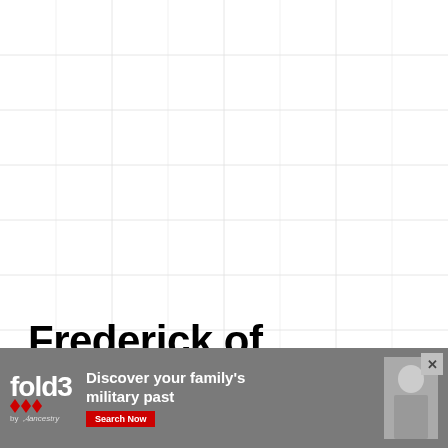[Figure (other): Light grey grid/graph paper background pattern covering upper portion of page]
Frederick of SCHLESWIG-HOLSTEIN-SONDERBURG
[Figure (other): fold3 by Ancestry advertisement banner: 'Discover your family's military past' with Search Now button and soldier photo]